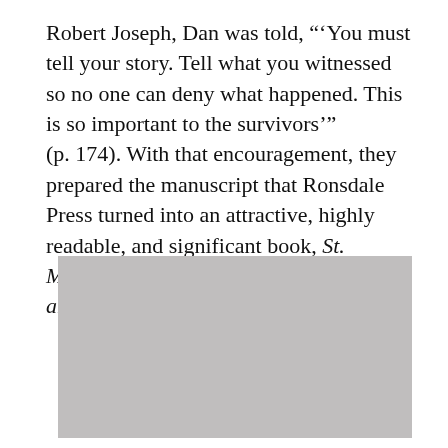Robert Joseph, Dan was told, "'You must tell your story. Tell what you witnessed so no one can deny what happened. This is so important to the survivors'" (p. 174). With that encouragement, they prepared the manuscript that Ronsdale Press turned into an attractive, highly readable, and significant book, St. Michael's Residential School: Lament and Legacy, in 2021.
[Figure (photo): A grey placeholder image, likely a photograph related to St. Michael's Residential School or its context.]